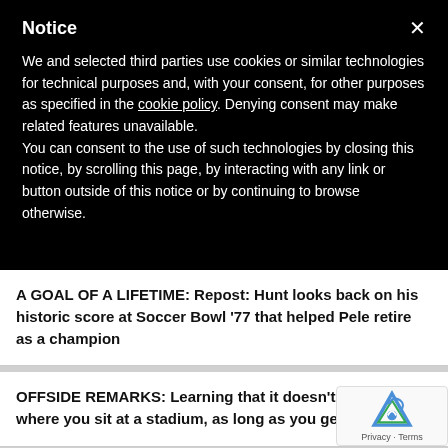Notice
We and selected third parties use cookies or similar technologies for technical purposes and, with your consent, for other purposes as specified in the cookie policy. Denying consent may make related features unavailable.
You can consent to the use of such technologies by closing this notice, by scrolling this page, by interacting with any link or button outside of this notice or by continuing to browse otherwise.
A GOAL OF A LIFETIME: Repost: Hunt looks back on his historic score at Soccer Bowl '77 that helped Pele retire as a champion
OFFSIDE REMARKS: Learning that it doesn't matter where you sit at a stadium, as long as you get a seat
AN UNBELIEVABLE FEELING: Edelman scores his 1 MLS goal at the right time